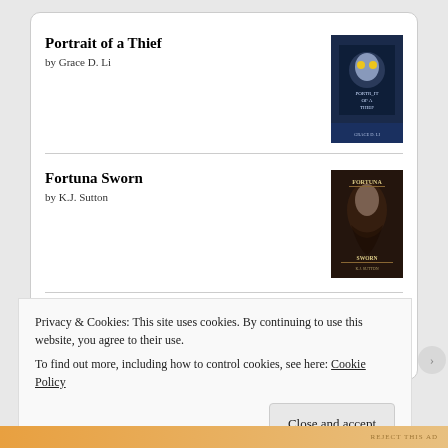[Figure (screenshot): Goodreads widget showing two books: 'Portrait of a Thief by Grace D. Li' and 'Fortuna Sworn by K.J. Sutton', with a Goodreads logo button at the bottom, inside a rounded white card.]
- TWITTER -
Privacy & Cookies: This site uses cookies. By continuing to use this website, you agree to their use.
To find out more, including how to control cookies, see here: Cookie Policy
Close and accept